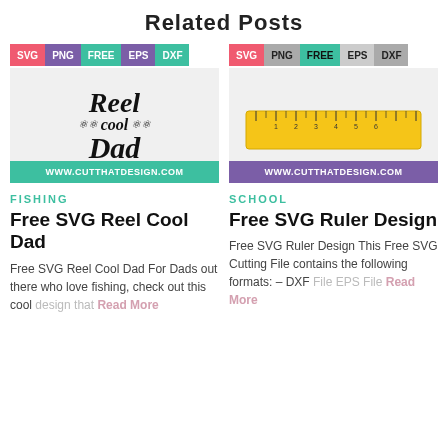Related Posts
[Figure (illustration): Free SVG Reel Cool Dad design with tag bar (SVG PNG FREE EPS DXF) and green website URL bar]
[Figure (illustration): Free SVG Ruler Design image with tag bar (SVG PNG FREE EPS DXF) and purple website URL bar]
FISHING
SCHOOL
Free SVG Reel Cool Dad
Free SVG Ruler Design
Free SVG Reel Cool Dad For Dads out there who love fishing, check out this cool design that
Read More
Free SVG Ruler Design This Free SVG Cutting File contains the following formats: – DXF File EPS File
Read More